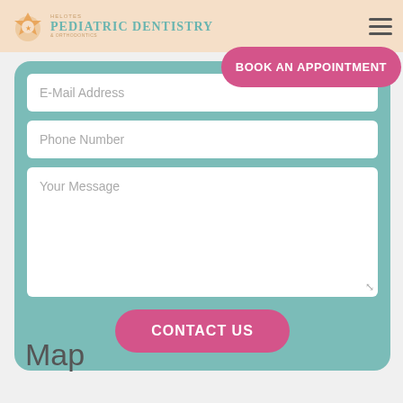[Figure (logo): Helotes Pediatric Dentistry & Orthodontics logo with teal text and orange icon]
E-Mail Address
[Figure (other): Book An Appointment pink pill button]
Phone Number
Your Message
CONTACT US
Map